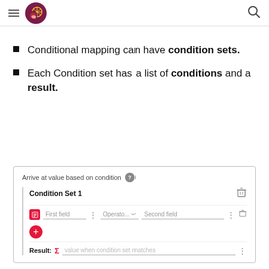Navigation header with logo and search icon
Conditional mapping can have condition sets.
Each Condition set has a list of conditions and a result.
[Figure (screenshot): UI panel titled 'Arrive at value based on condition' showing Condition Set 1 with First field, Operator, Second field inputs, a plus button, and a Result row with sigma icon and placeholder 'value when condition set matches'.]